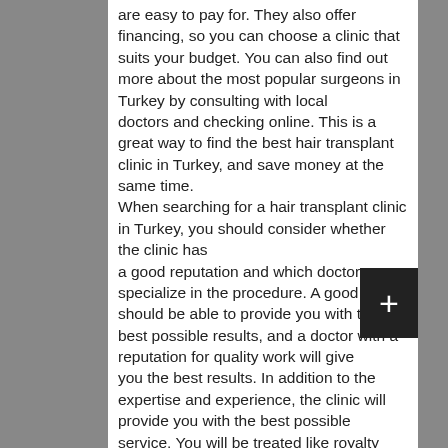are easy to pay for. They also offer financing, so you can choose a clinic that suits your budget. You can also find out more about the most popular surgeons in Turkey by consulting with local doctors and checking online. This is a great way to find the best hair transplant clinic in Turkey, and save money at the same time. When searching for a hair transplant clinic in Turkey, you should consider whether the clinic has a good reputation and which doctors specialize in the procedure. A good one should be able to provide you with the best possible results, and a doctor with a reputation for quality work will give you the best results. In addition to the expertise and experience, the clinic will provide you with the best possible service. You will be treated like royalty and have a beautiful head of healthy